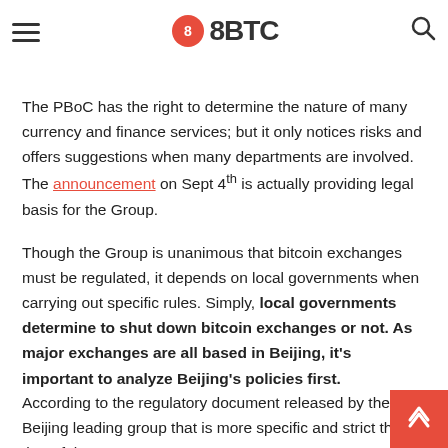8BTC
e I'm going to talk about how to carry out regulations.
The PBoC has the right to determine the nature of many currency and finance services; but it only notices risks and offers suggestions when many departments are involved. The announcement on Sept 4th is actually providing legal basis for the Group.
Though the Group is unanimous that bitcoin exchanges must be regulated, it depends on local governments when carrying out specific rules. Simply, local governments determine to shut down bitcoin exchanges or not. As major exchanges are all based in Beijing, it's important to analyze Beijing's policies first.
According to the regulatory document released by the Beijing leading group that is more specific and strict than that of the PBOC,